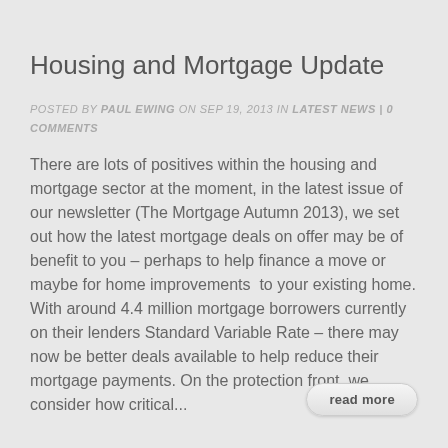Housing and Mortgage Update
POSTED BY PAUL EWING ON SEP 19, 2013 IN LATEST NEWS | 0 COMMENTS
There are lots of positives within the housing and mortgage sector at the moment, in the latest issue of our newsletter (The Mortgage Autumn 2013), we set out how the latest mortgage deals on offer may be of benefit to you – perhaps to help finance a move or maybe for home improvements  to your existing home. With around 4.4 million mortgage borrowers currently on their lenders Standard Variable Rate – there may now be better deals available to help reduce their mortgage payments. On the protection front, we consider how critical...
read more